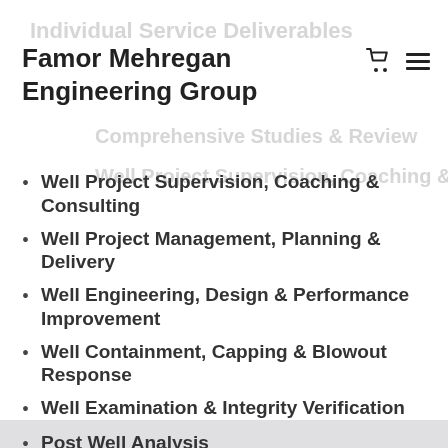Individual Service Deliverables
Famor Mehregan Engineering Group
Comprehensive Studies & Review
Well Project Supervision, Coaching & Consulting
Well Project Management, Planning & Delivery
Well Engineering, Design & Performance Improvement
Well Containment, Capping & Blowout Response
Well Examination & Integrity Verification
Post Well Analysis
DWOP/DWOS